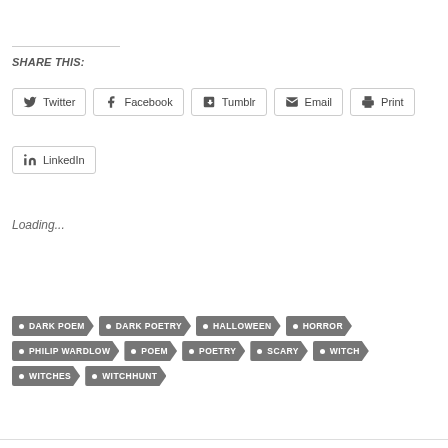SHARE THIS:
Twitter
Facebook
Tumblr
Email
Print
LinkedIn
Loading...
DARK POEM
DARK POETRY
HALLOWEEN
HORROR
PHILIP WARDLOW
POEM
POETRY
SCARY
WITCH
WITCHES
WITCHHUNT